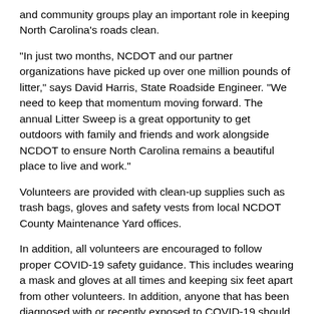and community groups play an important role in keeping North Carolina's roads clean.
“In just two months, NCDOT and our partner organizations have picked up over one million pounds of litter,” says David Harris, State Roadside Engineer. “We need to keep that momentum moving forward. The annual Litter Sweep is a great opportunity to get outdoors with family and friends and work alongside NCDOT to ensure North Carolina remains a beautiful place to live and work.”
Volunteers are provided with clean-up supplies such as trash bags, gloves and safety vests from local NCDOT County Maintenance Yard offices.
In addition, all volunteers are encouraged to follow proper COVID-19 safety guidance. This includes wearing a mask and gloves at all times and keeping six feet apart from other volunteers. In addition, anyone that has been diagnosed with or recently exposed to COVID-19 should refrain from participating.
To sign up and get more information, visit the Litter Sweep web page or call 919-707-2970.